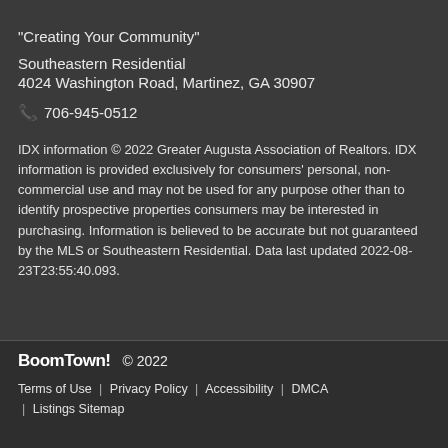"Creating Your Community"
Southeastern Residential
4024 Washington Road, Martinez, GA 30907
📞 706-945-0512
IDX information © 2022 Greater Augusta Association of Realtors. IDX information is provided exclusively for consumers' personal, non-commercial use and may not be used for any purpose other than to identify prospective properties consumers may be interested in purchasing. Information is believed to be accurate but not guaranteed by the MLS or Southeastern Residential. Data last updated 2022-08-23T23:55:40.093.
BoomTown! © 2022
Terms of Use | Privacy Policy | Accessibility | DMCA | Listings Sitemap